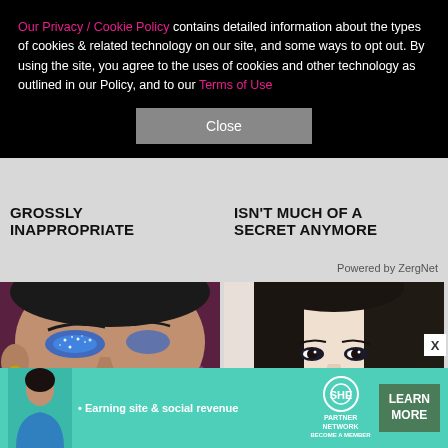Our Privacy / Cookie Policy contains detailed information about the types of cookies & related technology on our site, and some ways to opt out. By using the site, you agree to the uses of cookies and other technology as outlined in our Policy, and to our Terms of Use
Close
GROSSLY INAPPROPRIATE
ISN'T MUCH OF A SECRET ANYMORE
Powered by ZergNet
[Figure (photo): Close-up of a man wearing blue glitter eyeshadow and makeup with facial hair and hoop earrings, colorful bokeh background]
[Figure (photo): Close-up of a young Asian woman with straight dark hair, looking slightly upward, hand near chin, neutral background]
[Figure (infographic): Ad banner: SHE Partner Network - Earning site & social revenue - LEARN MORE - BECOME A MEMBER]